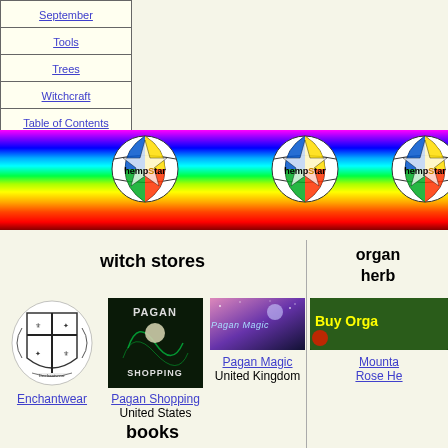| September |
| Tools |
| Trees |
| Witchcraft |
| Table of Contents |
[Figure (illustration): Rainbow banner with three hempStar logos (soccer-ball style globes with star overlays) on a rainbow gradient background]
witch stores
organ herb
[Figure (illustration): Enchantwear heraldic coat of arms illustration]
Enchantwear
[Figure (illustration): Pagan Shopping dark green promotional image with moon and text PAGAN SHOPPING]
Pagan Shopping
United States
[Figure (illustration): Pagan Magic banner with moon and space background, text Pagan Magic]
Pagan Magic
United Kingdom
[Figure (illustration): Partial image: Buy Organic green promotional banner]
Mounta
Rose He
books